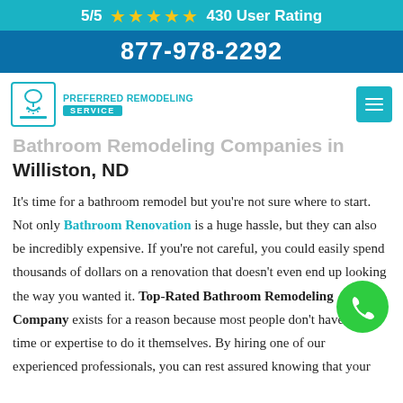5/5 ★★★★★ 430 User Rating
877-978-2292
[Figure (logo): Preferred Remodeling Service logo with shower icon]
Bathroom Remodeling Companies in Williston, ND
It's time for a bathroom remodel but you're not sure where to start. Not only Bathroom Renovation is a huge hassle, but they can also be incredibly expensive. If you're not careful, you could easily spend thousands of dollars on a renovation that doesn't even end up looking the way you wanted it. Top-Rated Bathroom Remodeling Company exists for a reason because most people don't have the time or expertise to do it themselves. By hiring one of our experienced professionals, you can rest assured knowing that your